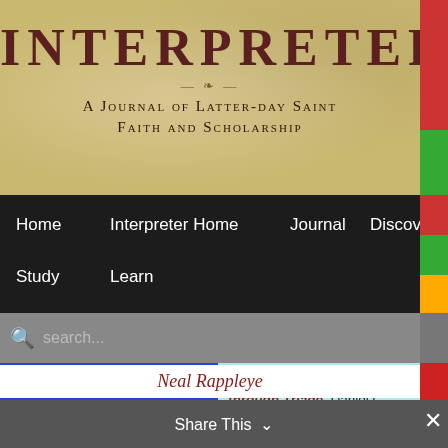[Figure (screenshot): Interpreter journal website header with parchment-colored background showing the title INTERPRETER and subtitle A Journal of Latter-day Saint Faith and Scholarship]
INTERPRETER
A Journal of Latter-day Saint Faith and Scholarship
Home   Interpreter Home   Journal   Discover   Study   Learn
search...
This week in history
Better Kingdom-Building through Triage, Daniel C. Peterson, August 20, 2021
← Previous   Next →
Rediscovering the First Vision
Neal Rappleye
Share This